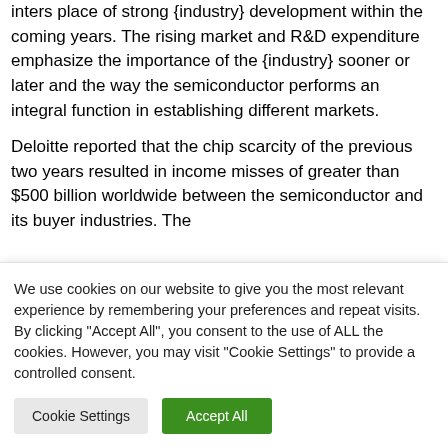inters place of strong {industry} development within the coming years. The rising market and R&D expenditure emphasize the importance of the {industry} sooner or later and the way the semiconductor performs an integral function in establishing different markets.
Deloitte reported that the chip scarcity of the previous two years resulted in income misses of greater than $500 billion worldwide between the semiconductor and its buyer industries. The
We use cookies on our website to give you the most relevant experience by remembering your preferences and repeat visits. By clicking "Accept All", you consent to the use of ALL the cookies. However, you may visit "Cookie Settings" to provide a controlled consent.